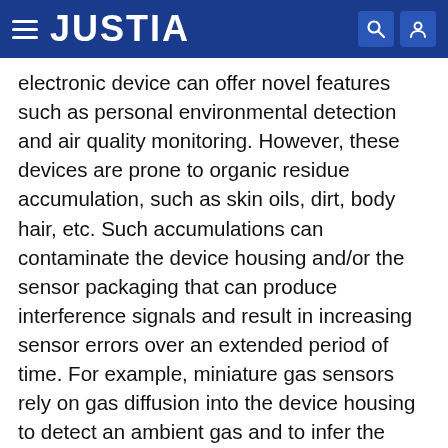JUSTIA
electronic device can offer novel features such as personal environmental detection and air quality monitoring. However, these devices are prone to organic residue accumulation, such as skin oils, dirt, body hair, etc. Such accumulations can contaminate the device housing and/or the sensor packaging that can produce interference signals and result in increasing sensor errors over an extended period of time. For example, miniature gas sensors rely on gas diffusion into the device housing to detect an ambient gas and to infer the ambient gas concentration. However, human skin lipids produce squalene, an oily organic compound that can stick to the housing surface and/or sensor packaging. Squalene reacts strongly with oxidizing gases (e.g., ozone and nitrogen oxides), which could significantly increase the errors of such sensors.